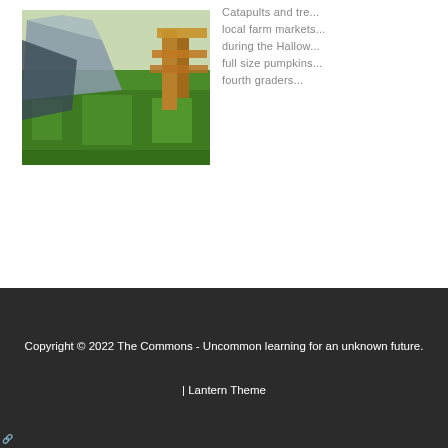[Figure (photo): Outdoor scene showing a grassy field with what appears to be a tarp or tent material and some wooden structures, likely related to a catapult or farm market setup.]
Catapults and tre... local farm markets... during the Hallow... full size pumpkins... fourth graders...
Copyright © 2022 The Commons - Uncommon learning for an unknown future.
| Lantern Theme